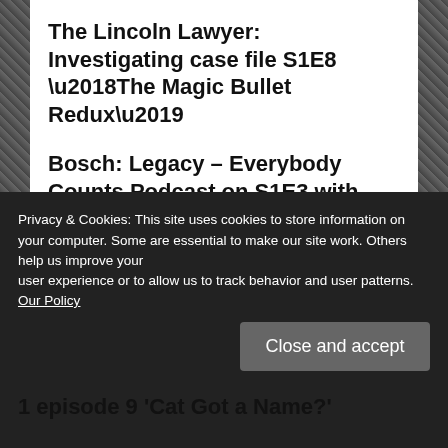The Lincoln Lawyer: Investigating case file S1E8 ‘The Magic Bullet Redux’
Bosch: Legacy – Everybody Counts Podcast on S1E3 with Kurt Kanazawa
The Lincoln Lawyer: Podcast episode for S1E2 with showrunner Ted Humphrey
The Lincoln Lawyer: Investigating case
Privacy & Cookies: This site uses cookies to store information on your computer. Some are essential to make our site work. Others help us improve your user experience or to allow us to track behavior and user patterns. Our Policy
1 episode 9 ‘Cat Got a Name?’